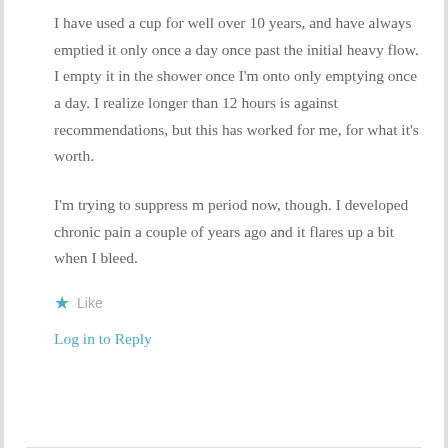I have used a cup for well over 10 years, and have always emptied it only once a day once past the initial heavy flow. I empty it in the shower once I'm onto only emptying once a day. I realize longer than 12 hours is against recommendations, but this has worked for me, for what it's worth.

I'm trying to suppress m period now, though. I developed chronic pain a couple of years ago and it flares up a bit when I bleed.
★ Like
Log in to Reply